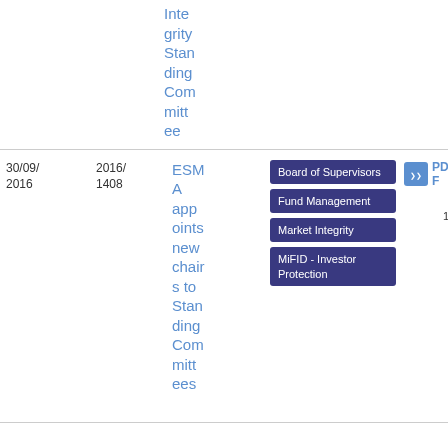| Date | ID | Title | Tags | Type/Size |
| --- | --- | --- | --- | --- |
|  |  | Integrity Standing Committee |  |  |
| 30/09/2016 | 2016/1408 | ESMA appoints new chairs to Standing Committees | Board of Supervisors, Fund Management, Market Integrity, MiFID - Investor Protection | PDF
14
1.3 KB |
|  |  |  | Board of |  |